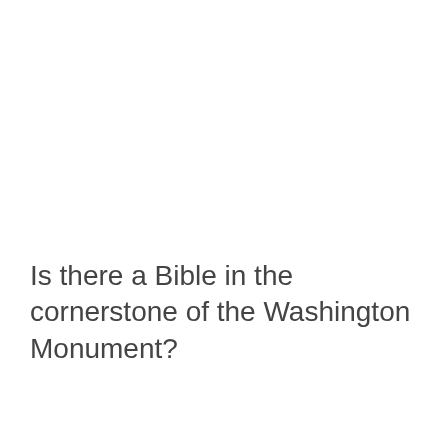Is there a Bible in the cornerstone of the Washington Monument?